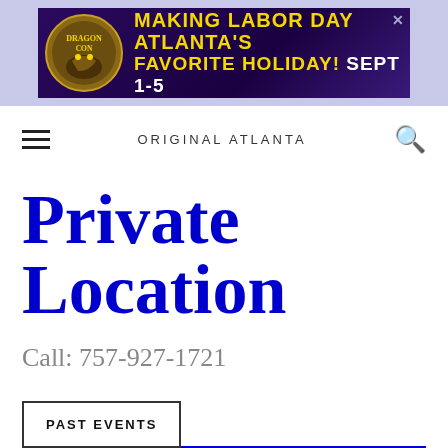[Figure (illustration): Dragon Con advertisement banner: 'Making Labor Day Atlanta's Favorite Holiday! Sept 1-5' with dragon logo on purple/dark background]
ORIGINAL ATLANTA
Private Location
Call: 757-927-1721
PAST EVENTS